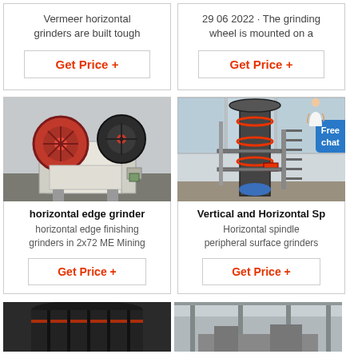Vermeer horizontal grinders are built tough
Get Price +
29 06 2022 · The grinding wheel is mounted on a
Get Price +
[Figure (photo): Industrial jaw crusher machine with large red flywheel, white body, parked outdoors]
horizontal edge grinder
horizontal edge finishing grinders in 2x72 ME Mining
Get Price +
[Figure (photo): Tall vertical industrial grinding machine in a factory, with red accent features and metal staircases; blue 'Free chat' badge overlay; person icon top right]
Vertical and Horizontal Sp
Horizontal spindle peripheral surface grinders
Get Price +
[Figure (photo): Bottom partial view of dark industrial grinding equipment]
[Figure (photo): Bottom partial view of factory floor with machinery]